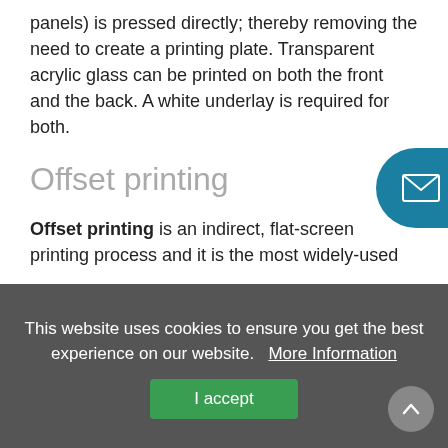panels) is pressed directly; thereby removing the need to create a printing plate. Transparent acrylic glass can be printed on both the front and the back. A white underlay is required for both.
Offset printing
Offset printing is an indirect, flat-screen printing process and it is the most widely-used
This website uses cookies to ensure you get the best experience on our website. More Information
I accept